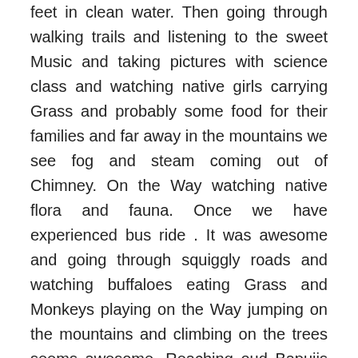feet in clean water. Then going through walking trails and listening to the sweet Music and taking pictures with science class and watching native girls carrying Grass and probably some food for their families and far away in the mountains we see fog and steam coming out of Chimney. On the Way watching native flora and fauna. Once we have experienced bus ride . It was awesome and going through squiggly roads and watching buffaloes eating Grass and Monkeys playing on the Way jumping on the mountains and climbing on the trees seems awesome. Reaching oud Bapujis home hugging and going out with my cousin watching native city streets and eating Candies and walking back home playing and watching my parents talking to our elderly uncle. Playing in their backyard and watching almond and orange trees and a native apple tree, After spending